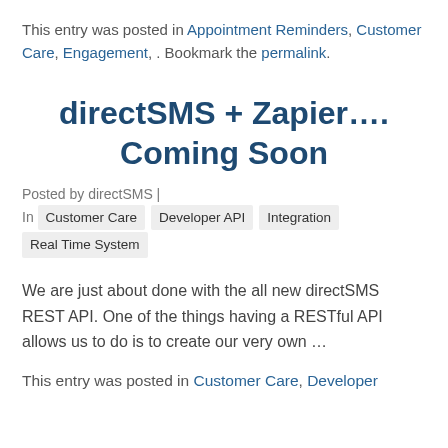This entry was posted in Appointment Reminders, Customer Care, Engagement, . Bookmark the permalink.
directSMS + Zapier…. Coming Soon
Posted by directSMS | In  Customer Care  Developer API  Integration  Real Time System
We are just about done with the all new directSMS REST API. One of the things having a RESTful API allows us to do is to create our very own …
This entry was posted in Customer Care, Developer